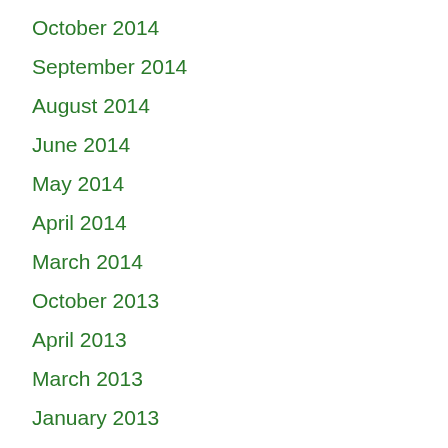October 2014
September 2014
August 2014
June 2014
May 2014
April 2014
March 2014
October 2013
April 2013
March 2013
January 2013
November 2012
October 2012
September 2012
July 2012